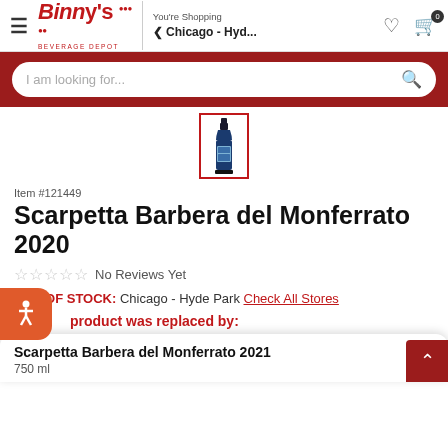Binny's Beverage Depot — You're Shopping Chicago - Hyd...
[Figure (screenshot): Search bar with placeholder text 'I am looking for...' and red search icon]
[Figure (photo): Wine bottle product image thumbnail with red border]
Item #121449
Scarpetta Barbera del Monferrato 2020
☆☆☆☆☆ No Reviews Yet
OUT OF STOCK: Chicago - Hyde Park Check All Stores
product was replaced by:
Scarpetta Barbera del Monferrato 2021
750 ml